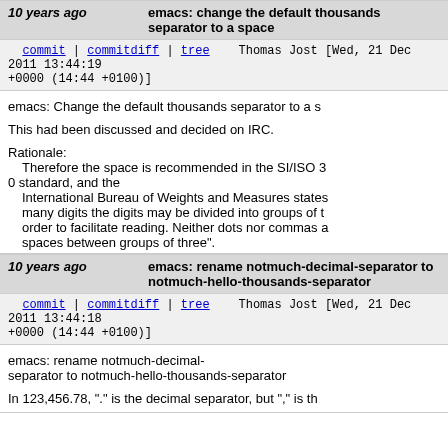10 years ago   emacs: Change the default thousands separator to a space
commit | commitdiff | tree   Thomas Jost [Wed, 21 Dec 2011 13:44:19 +0000 (14:44 +0100)]
emacs: Change the default thousands separator to a s

This had been discussed and decided on IRC.

Rationale:
  Therefore the space is recommended in the SI/ISO 30 standard, and the
  International Bureau of Weights and Measures states many digits the digits may be divided into groups of t order to facilitate reading. Neither dots nor commas a spaces between groups of three".

(http://en.wikipedia.org/wiki/Decimal_separator#Digit_
10 years ago   emacs: rename notmuch-decimal-separator to notmuch-hello-thousands-separator
commit | commitdiff | tree   Thomas Jost [Wed, 21 Dec 2011 13:44:18 +0000 (14:44 +0100)]
emacs: rename notmuch-decimal-separator to notmuch-hello-thousands-separator

In 123,456.78, "." is the decimal separator, but "," is th